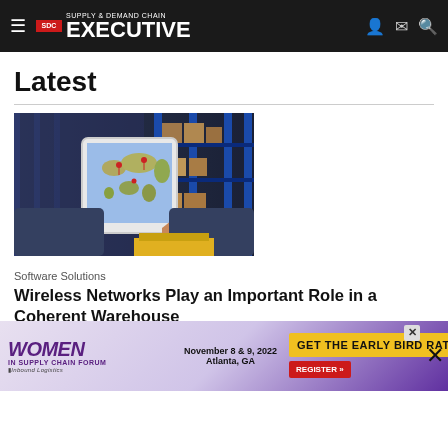Supply & Demand Chain Executive
Latest
[Figure (photo): Person holding a tablet displaying a world map with supply chain data in a warehouse with shelving and boxes]
Software Solutions
Wireless Networks Play an Important Role in a Coherent Warehouse
If the past two years of the pandemic—and pandemic-related supply ch... ...g efficiency ...house...
[Figure (other): Advertisement: Women in Supply Chain Forum, November 8 & 9, 2022, Atlanta, GA. GET THE EARLY BIRD RATE! REGISTER »]